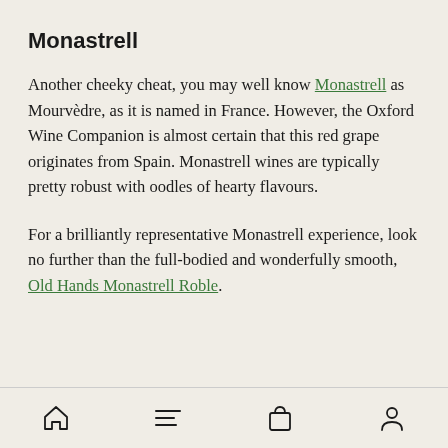Monastrell
Another cheeky cheat, you may well know Monastrell as Mourvèdre, as it is named in France. However, the Oxford Wine Companion is almost certain that this red grape originates from Spain. Monastrell wines are typically pretty robust with oodles of hearty flavours.
For a brilliantly representative Monastrell experience, look no further than the full-bodied and wonderfully smooth, Old Hands Monastrell Roble.
Navigation bar with home, menu, bag, and account icons